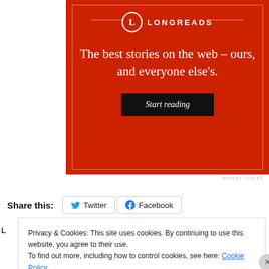[Figure (other): Longreads advertisement banner on red background. Logo with 'L' in a circle, 'LONGREADS' text, headline 'The best stories on the web – ours, and everyone else's.' with a black 'Start reading' button.]
REPORT THIS AD
Share this: Twitter Facebook
Privacy & Cookies: This site uses cookies. By continuing to use this website, you agree to their use. To find out more, including how to control cookies, see here: Cookie Policy
Close and accept